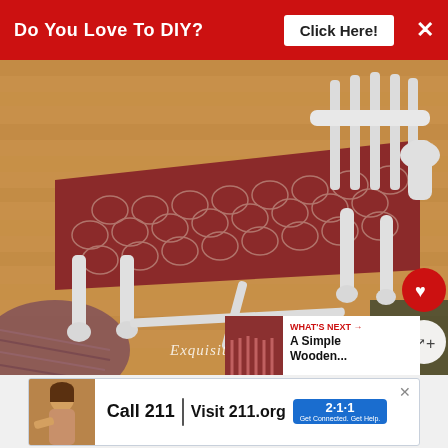[Figure (screenshot): Red banner ad at top: 'Do You Love To DIY?' with 'Click Here!' button and close X]
[Figure (photo): Close-up photo of a white-painted wooden chair with burgundy/red patterned upholstery on hardwood floor. Watermark reads 'Exquisitely Unremarkable'. Heart and share buttons overlay on right side. 'WHAT'S NEXT → A Simple Wooden...' panel in bottom right.]
[Figure (screenshot): Advertisement banner: child photo on left, 'Call 211 | Visit 211.org' with 2·1·1 badge. Close button top right. Mute icons on far right.]